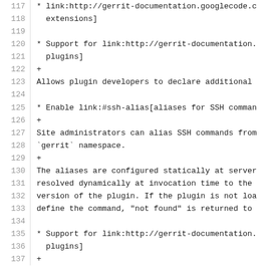Code listing lines 117-137 showing gerrit documentation source text